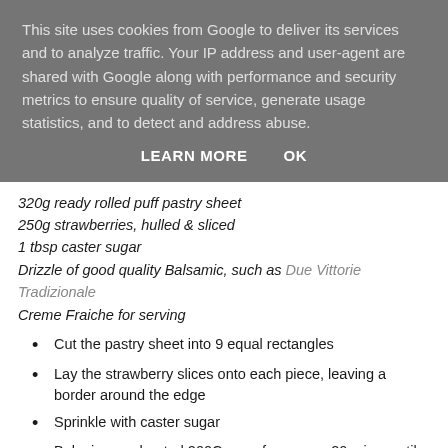This site uses cookies from Google to deliver its services and to analyze traffic. Your IP address and user-agent are shared with Google along with performance and security metrics to ensure quality of service, generate usage statistics, and to detect and address abuse.
LEARN MORE   OK
320g ready rolled puff pastry sheet
250g strawberries, hulled & sliced
1 tbsp caster sugar
Drizzle of good quality Balsamic, such as Due Vittorie Tradizionale
Creme Fraiche for serving
Cut the pastry sheet into 9 equal rectangles
Lay the strawberry slices onto each piece, leaving a border around the edge
Sprinkle with caster sugar
Bake in a preheated 200C oven for approx 20 mins, until golden brown & puffed up